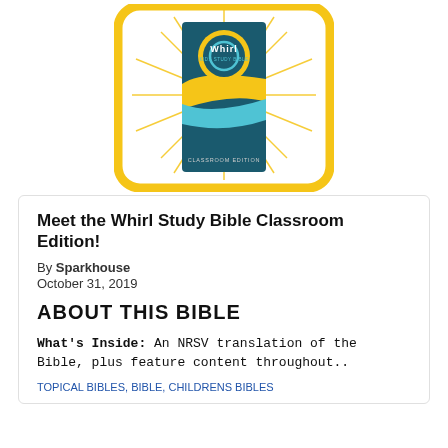[Figure (illustration): Whirl Kids Study Bible Classroom Edition book cover inside a rounded yellow rectangle badge with sunburst rays. The book cover is teal/dark blue with gold and light blue swoosh design and 'Whirl KIDS STUDY BIBLE' text and 'CLASSROOM EDITION' at bottom.]
Meet the Whirl Study Bible Classroom Edition!
By Sparkhouse
October 31, 2019
ABOUT THIS BIBLE
What's Inside: An NRSV translation of the Bible, plus feature content throughout..
TOPICAL BIBLES, BIBLE, CHILDRENS BIBLES